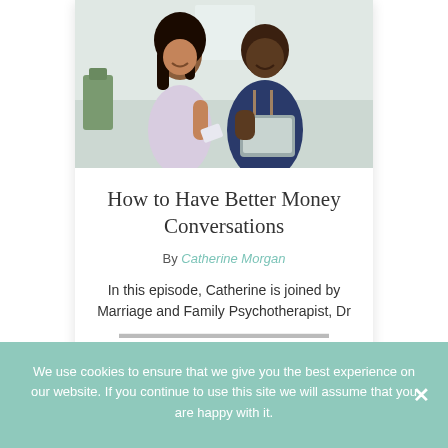[Figure (photo): A couple smiling and looking at a tablet together in a kitchen setting]
How to Have Better Money Conversations
By Catherine Morgan
In this episode, Catherine is joined by Marriage and Family Psychotherapist, Dr
We use cookies to ensure that we give you the best experience on our website. If you continue to use this site we will assume that you are happy with it.